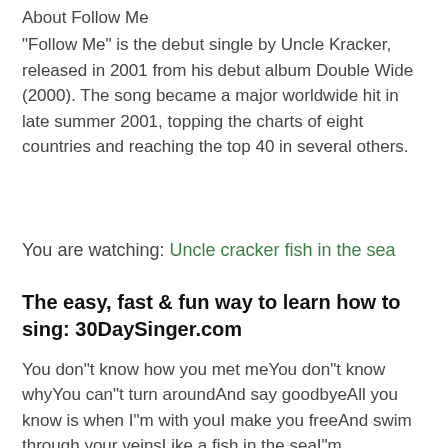About Follow Me
"Follow Me" is the debut single by Uncle Kracker, released in 2001 from his debut album Double Wide (2000). The song became a major worldwide hit in late summer 2001, topping the charts of eight countries and reaching the top 40 in several others.
You are watching: Uncle cracker fish in the sea
The easy, fast & fun way to learn how to sing: 30DaySinger.com
You don"t know how you met meYou don"t know whyYou can"t turn aroundAnd say goodbyeAll you know is when I"m with youI make you freeAnd swim through your veinsLike a fish in the seaI"m singin"Follow meEverything is all right I"ll be the one